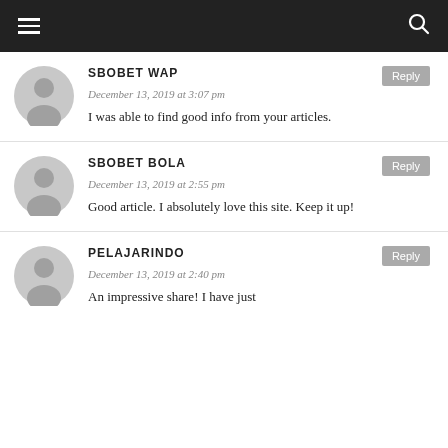navigation bar with hamburger menu and search icon
SBOBET WAP
December 13, 2019 at 3:07 pm
I was able to find good info from your articles.
SBOBET BOLA
December 13, 2019 at 2:55 pm
Good article. I absolutely love this site. Keep it up!
PELAJARINDO
December 13, 2019 at 2:40 pm
An impressive share! I have just...